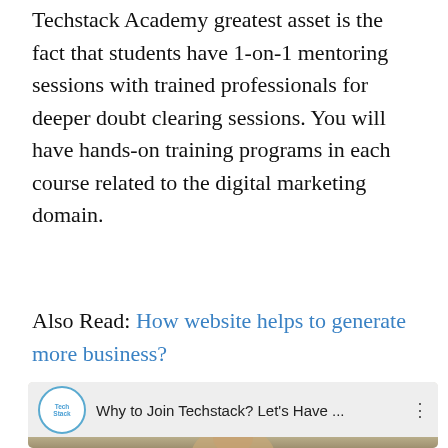Techstack Academy greatest asset is the fact that students have 1-on-1 mentoring sessions with trained professionals for deeper doubt clearing sessions. You will have hands-on training programs in each course related to the digital marketing domain.
Also Read: How website helps to generate more business?
Are you curious to learn more about our courses? This is everything you need to know about Techstack's online digital marketing course.
[Figure (screenshot): YouTube-style video thumbnail showing 'Why to Join Techstack? Let's Have ...' with the Techstack logo circle on the left, video title text, a three-dot menu icon, and a person's face visible in the lower portion of the thumbnail.]